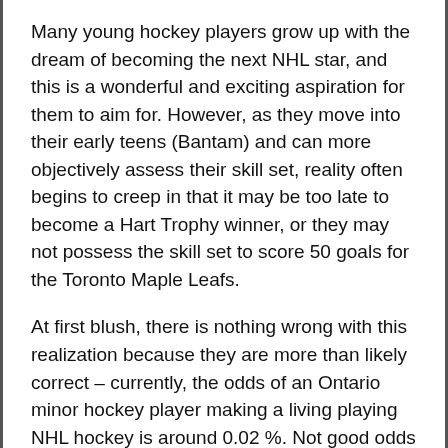Many young hockey players grow up with the dream of becoming the next NHL star, and this is a wonderful and exciting aspiration for them to aim for. However, as they move into their early teens (Bantam) and can more objectively assess their skill set, reality often begins to creep in that it may be too late to become a Hart Trophy winner, or they may not possess the skill set to score 50 goals for the Toronto Maple Leafs.
At first blush, there is nothing wrong with this realization because they are more than likely correct – currently, the odds of an Ontario minor hockey player making a living playing NHL hockey is around 0.02 %. Not good odds to bank on!
However, while fundamentally accurate, there is an issue with this type of thinking. Nothing in life is ever, "black or white." This type of thinking runs rampant